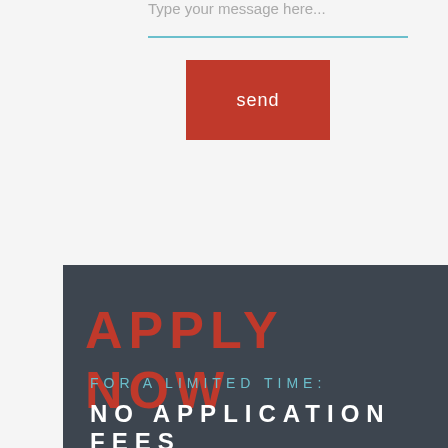Type your message here...
[Figure (other): Horizontal teal divider line]
send
APPLY NOW
FOR A LIMITED TIME:
NO APPLICATION FEES